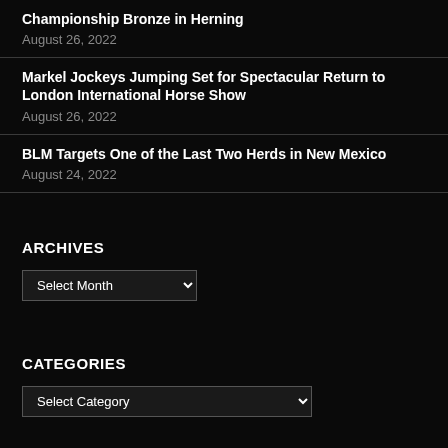Championship Bronze in Herning
August 26, 2022
Markel Jockeys Jumping Set for Spectacular Return to London International Horse Show
August 26, 2022
BLM Targets One of the Last Two Herds in New Mexico
August 24, 2022
ARCHIVES
Select Month
CATEGORIES
Select Category